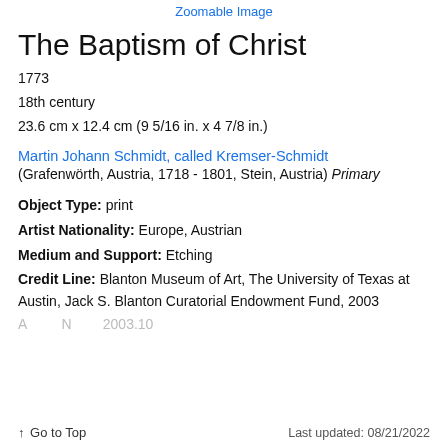Zoomable Image
The Baptism of Christ
1773
18th century
23.6 cm x 12.4 cm (9 5/16 in. x 4 7/8 in.)
Martin Johann Schmidt, called Kremser-Schmidt
(Grafenwörth, Austria, 1718 - 1801, Stein, Austria) Primary
Object Type: print
Artist Nationality: Europe, Austrian
Medium and Support: Etching
Credit Line: Blanton Museum of Art, The University of Texas at Austin, Jack S. Blanton Curatorial Endowment Fund, 2003
Go to Top | Last updated: 08/21/2022